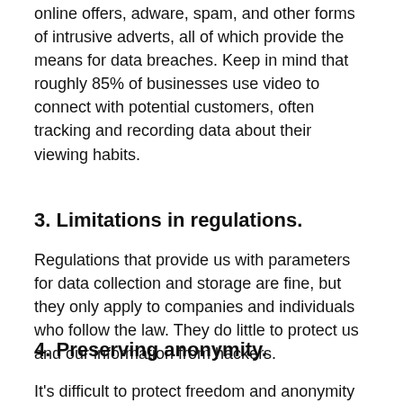online offers, adware, spam, and other forms of intrusive adverts, all of which provide the means for data breaches. Keep in mind that roughly 85% of businesses use video to connect with potential customers, often tracking and recording data about their viewing habits.
3. Limitations in regulations.
Regulations that provide us with parameters for data collection and storage are fine, but they only apply to companies and individuals who follow the law. They do little to protect us and our information from hackers.
4. Preserving anonymity.
It's difficult to protect freedom and anonymity at the same time. Often an individual's identity...